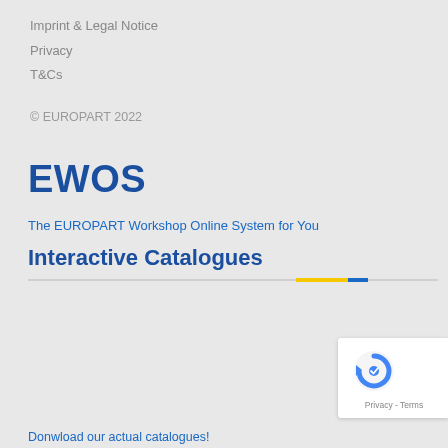Imprint & Legal Notice
Privacy
T&Cs
© EUROPART 2022
EWOS
The EUROPART Workshop Online System for You
Interactive Catalogues
[Figure (other): reCAPTCHA widget showing circular arrow logo with Privacy and Terms links]
Donwload our actual catalogues!